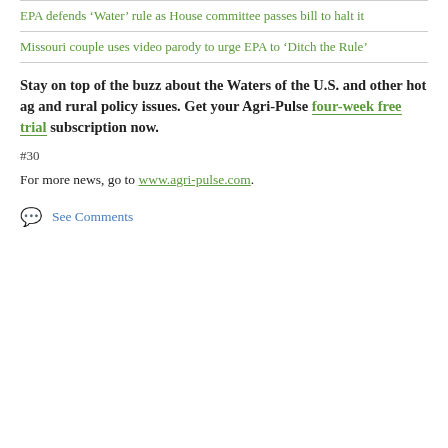EPA defends ‘Water’ rule as House committee passes bill to halt it
Missouri couple uses video parody to urge EPA to ‘Ditch the Rule’
Stay on top of the buzz about the Waters of the U.S. and other hot ag and rural policy issues. Get your Agri-Pulse four-week free trial subscription now.
#30
For more news, go to www.agri-pulse.com.
See Comments